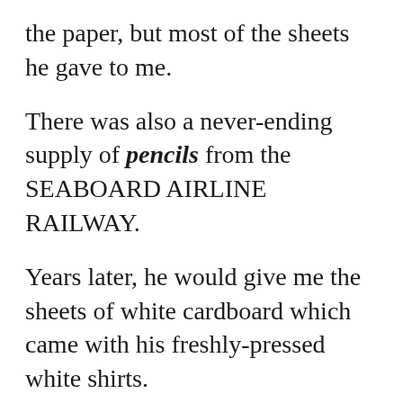the paper, but most of the sheets he gave to me.
There was also a never-ending supply of pencils from the SEABOARD AIRLINE RAILWAY.
Years later, he would give me the sheets of white cardboard which came with his freshly-pressed white shirts.
My earliest memory of receiving any approval for my artwork from my